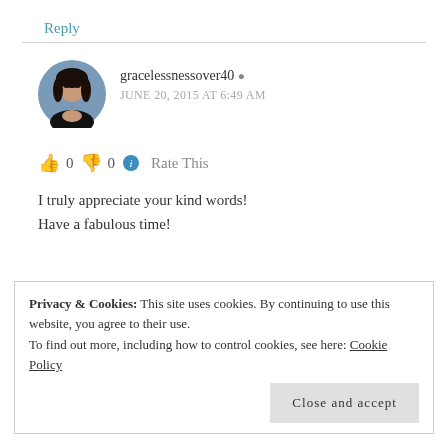Reply
gracelessnessover40
JUNE 20, 2015 AT 6:49 AM
👍 0 👎 0 ℹ Rate This
I truly appreciate your kind words!
Have a fabulous time!
★ Like
Privacy & Cookies: This site uses cookies. By continuing to use this website, you agree to their use.
To find out more, including how to control cookies, see here: Cookie Policy
Close and accept